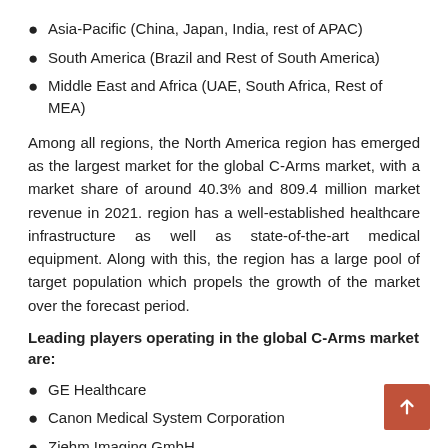Asia-Pacific (China, Japan, India, rest of APAC)
South America (Brazil and Rest of South America)
Middle East and Africa (UAE, South Africa, Rest of MEA)
Among all regions, the North America region has emerged as the largest market for the global C-Arms market, with a market share of around 40.3% and 809.4 million market revenue in 2021. region has a well-established healthcare infrastructure as well as state-of-the-art medical equipment. Along with this, the region has a large pool of target population which propels the growth of the market over the forecast period.
Leading players operating in the global C-Arms market are:
GE Healthcare
Canon Medical System Corporation
Ziehm Imaging GmbH
Philips NV
Hologic Corporation
Aton Gold Inc.